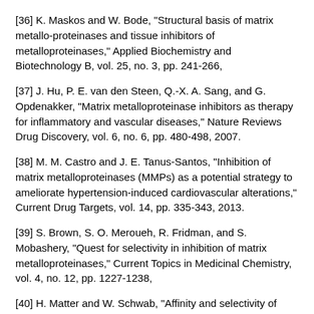[36] K. Maskos and W. Bode, "Structural basis of matrix metallo-proteinases and tissue inhibitors of metalloproteinases," Applied Biochemistry and Biotechnology B, vol. 25, no. 3, pp. 241-266,
[37] J. Hu, P. E. van den Steen, Q.-X. A. Sang, and G. Opdenakker, "Matrix metalloproteinase inhibitors as therapy for inflammatory and vascular diseases," Nature Reviews Drug Discovery, vol. 6, no. 6, pp. 480-498, 2007.
[38] M. M. Castro and J. E. Tanus-Santos, "Inhibition of matrix metalloproteinases (MMPs) as a potential strategy to ameliorate hypertension-induced cardiovascular alterations," Current Drug Targets, vol. 14, pp. 335-343, 2013.
[39] S. Brown, S. O. Meroueh, R. Fridman, and S. Mobashery, "Quest for selectivity in inhibition of matrix metalloproteinases," Current Topics in Medicinal Chemistry, vol. 4, no. 12, pp. 1227-1238,
[40] H. Matter and W. Schwab, "Affinity and selectivity of matrix metalloproteinase inhibitors: a chemometrical